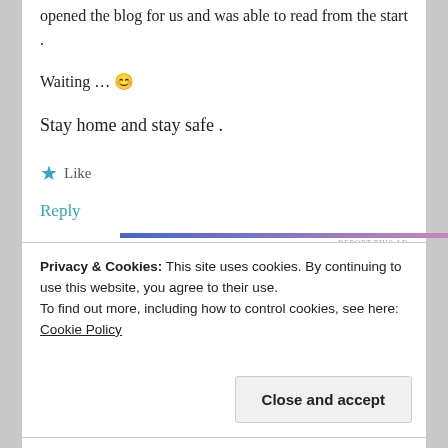opened the blog for us and was able to read from the start .
Waiting … 😊
Stay home and stay safe .
★ Like
Reply
[Figure (infographic): Gradient ad bar going from blue to pink with 'REPORT THIS AD' text on the right]
Privacy & Cookies: This site uses cookies. By continuing to use this website, you agree to their use.
To find out more, including how to control cookies, see here: Cookie Policy
Close and accept